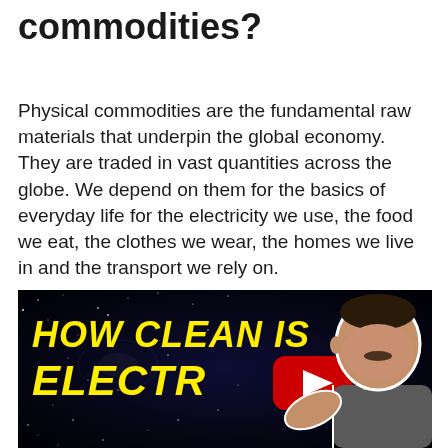commodities?
Physical commodities are the fundamental raw materials that underpin the global economy. They are traded in vast quantities across the globe. We depend on them for the basics of everyday life for the electricity we use, the food we eat, the clothes we wear, the homes we live in and the transport we rely on.
[Figure (screenshot): YouTube video thumbnail showing text 'HOW CLEAN IS ELECTR[ICITY?]' in bold yellow italic letters on a dark starfield background, with a YouTube play button overlay and a person (man with mustache) visible on the right side.]